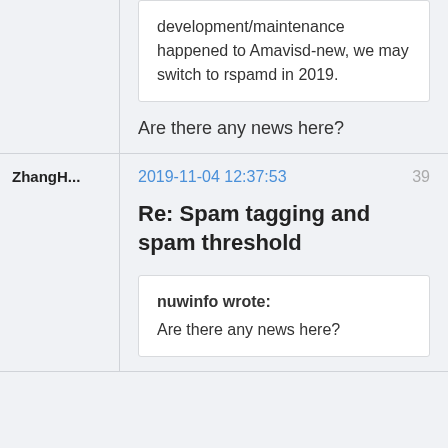development/maintenance happened to Amavisd-new, we may switch to rspamd in 2019.
Are there any news here?
ZhangH...
2019-11-04 12:37:53
39
Re: Spam tagging and spam threshold
nuwinfo wrote: Are there any news here?